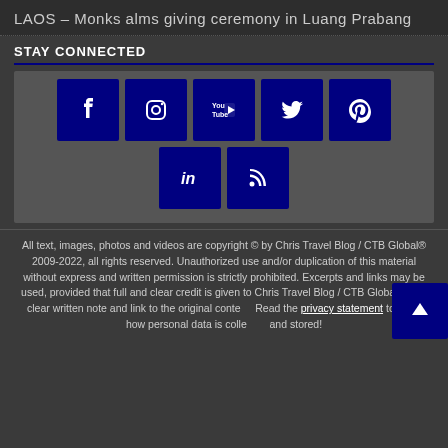LAOS – Monks alms giving ceremony in Luang Prabang
STAY CONNECTED
[Figure (infographic): Social media icon grid: Facebook, Instagram, YouTube, Twitter, Pinterest in top row; LinkedIn and RSS in bottom row. All icons are white on dark navy blue squares on a dark grey background.]
All text, images, photos and videos are copyright © by Chris Travel Blog / CTB Global® 2009-2022, all rights reserved. Unauthorized use and/or duplication of this material without express and written permission is strictly prohibited. Excerpts and links may be used, provided that full and clear credit is given to Chris Travel Blog / CTB Global® with clear written note and link to the original content. Read the privacy statement to learn how personal data is collected and stored!